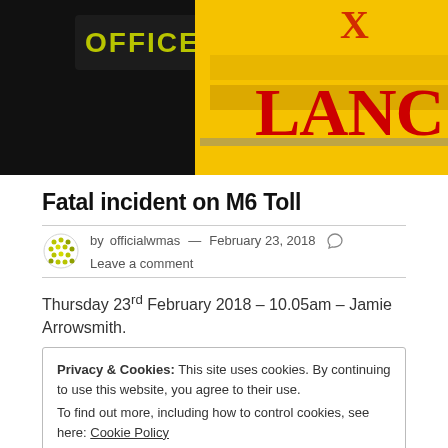[Figure (photo): Night-time photo showing a police officer badge/sign and a yellow ambulance with partial text 'LANCE' visible in red letters on yellow background]
Fatal incident on M6 Toll
by officialwmas — February 23, 2018  Leave a comment
Thursday 23rd February 2018 – 10.05am – Jamie Arrowsmith.
Privacy & Cookies: This site uses cookies. By continuing to use this website, you agree to their use.
To find out more, including how to control cookies, see here: Cookie Policy
Close and accept
West Midlands Ambulance Service received a 999 call at